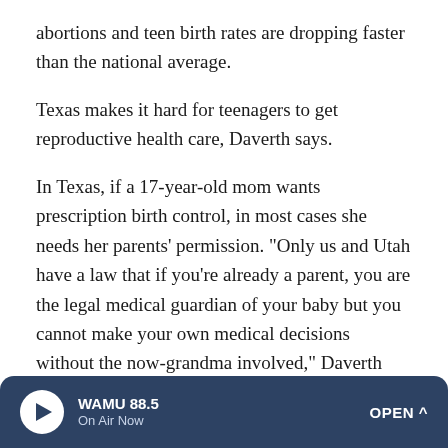abortions and teen birth rates are dropping faster than the national average.
Texas makes it hard for teenagers to get reproductive health care, Daverth says.
In Texas, if a 17-year-old mom wants prescription birth control, in most cases she needs her parents' permission. "Only us and Utah have a law that if you're already a parent, you are the legal medical guardian of your baby but you cannot make your own medical decisions without the now-grandma involved," Daverth says.
That's part of the reason, she notes, that Texas has the highest rate of repeat teen pregnancies in the country.
WAMU 88.5 On Air Now OPEN